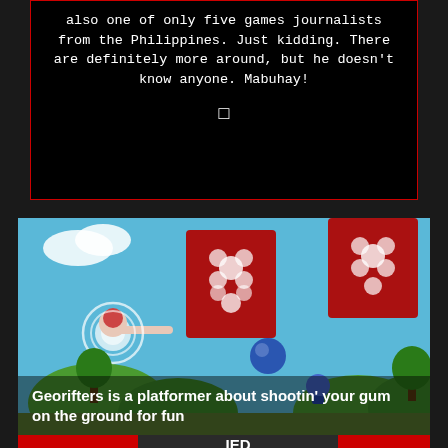also one of only five games journalists from the Philippines. Just kidding. There are definitely more around, but he doesn't know anyone. Mabuhay!
[Figure (screenshot): Screenshot of Georifters game showing a colorful platformer scene with a character shooting gum, red block obstacles with white flower patterns, and a blue sky background]
Georifters is a platformer about shootin' your gum on the ground for fun
◄ PREVIOUS